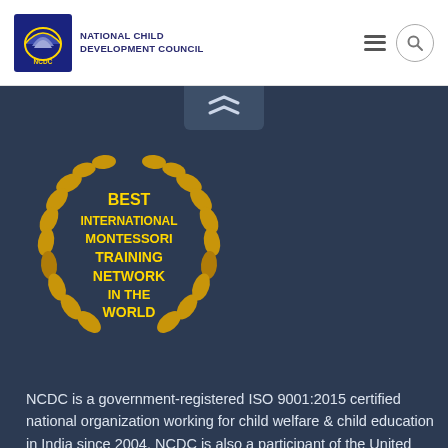NATIONAL CHILD DEVELOPMENT COUNCIL
[Figure (logo): NCDC logo with blue semicircle arch and text NATIONAL CHILD DEVELOPMENT COUNCIL]
[Figure (illustration): Gold laurel wreath badge with text: BEST INTERNATIONAL MONTESSORI TRAINING NETWORK IN THE WORLD]
NCDC is a government-registered ISO 9001:2015 certified national organization working for child welfare & child education in India since 2004. NCDC is also a participant of the United Nations Global